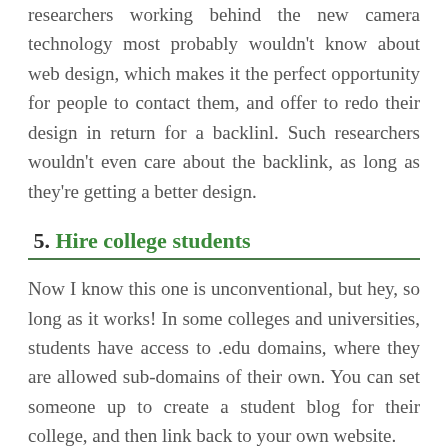researchers working behind the new camera technology most probably wouldn't know about web design, which makes it the perfect opportunity for people to contact them, and offer to redo their design in return for a backlink. Such researchers wouldn't even care about the backlink, as long as they're getting a better design.
5. Hire college students
Now I know this one is unconventional, but hey, so long as it works! In some colleges and universities, students have access to .edu domains, where they are allowed sub-domains of their own. You can set someone up to create a student blog for their college, and then link back to your own website.
There are many ways you could hire a student to do